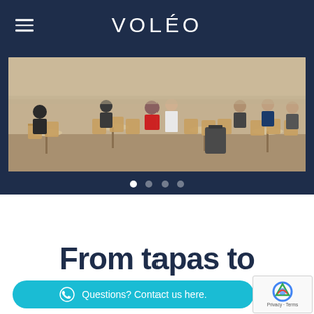VOLÉO
[Figure (photo): Outdoor café terrace with people seated at wicker chairs and small round tables, busy street scene in daylight]
[Figure (infographic): Carousel navigation dots: 4 dots, first one white/active, others semi-transparent]
From tapas to
Questions? Contact us here.